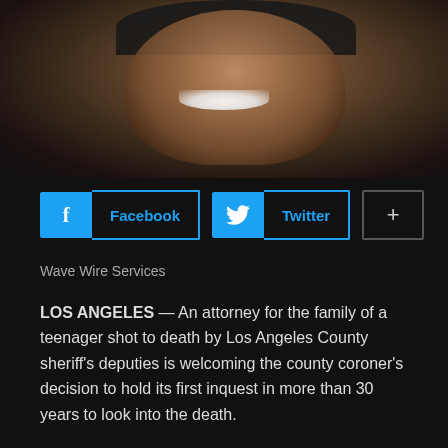[Figure (photo): Photo of a smiling young man wearing a dark cap, shown from shoulders up against a dark background]
f Facebook  🐦 Twitter  +
Wave Wire Services
LOS ANGELES — An attorney for the family of a teenager shot to death by Los Angeles County sheriff's deputies is welcoming the county coroner's decision to hold its first inquest in more than 30 years to look into the death.
"In the nearly five months since Andres Guardado was killed, the Los Angeles County Sheriff's Department has failed to be